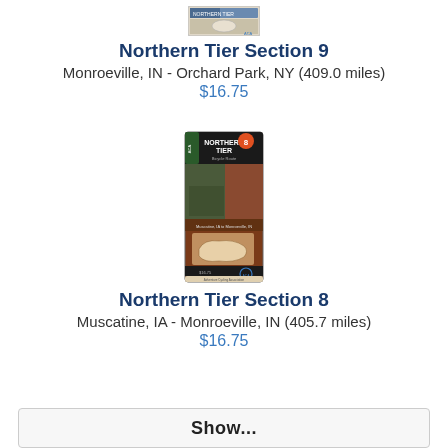[Figure (photo): Small map thumbnail for Northern Tier Section 9 bicycle route map]
Northern Tier Section 9
Monroeville, IN - Orchard Park, NY (409.0 miles)
$16.75
[Figure (photo): Tall map booklet thumbnail for Northern Tier Section 8 bicycle route, brown cover with cyclist image and US map]
Northern Tier Section 8
Muscatine, IA - Monroeville, IN (405.7 miles)
$16.75
Show...